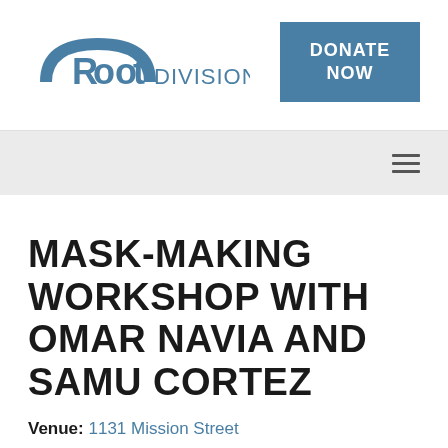[Figure (logo): Root Division logo with semicircle arch and text 'Root Division' in blue]
[Figure (other): Blue button with white bold text reading 'DONATE NOW']
[Figure (other): Navigation bar with hamburger menu icon (three horizontal lines) on right side]
MASK-MAKING WORKSHOP WITH OMAR NAVIA AND SAMU CORTEZ
Venue: 1131 Mission Street